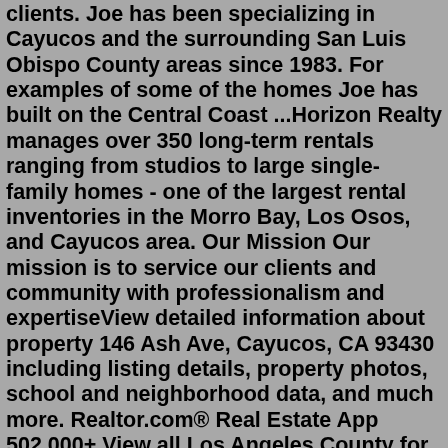clients. Joe has been specializing in Cayucos and the surrounding San Luis Obispo County areas since 1983. For examples of some of the homes Joe has built on the Central Coast ...Horizon Realty manages over 350 long-term rentals ranging from studios to large single-family homes - one of the largest rental inventories in the Morro Bay, Los Osos, and Cayucos area. Our Mission Our mission is to service our clients and community with professionalism and expertiseView detailed information about property 146 Ash Ave, Cayucos, CA 93430 including listing details, property photos, school and neighborhood data, and much more. Realtor.com® Real Estate App 502,000+ View all Los Angeles County for sale and lease listings, search for properties, and meet top realtors at JohnHart Real Estate. 0 Paper Roads Cayucos, Cayucos, CA 93422 | JohnHart Real Estate Redefined There are 23 real estate listings found in Cayucos, CA.View our Cayucos real estate area information to learn about the weather, local school districts, demographic data, and general information